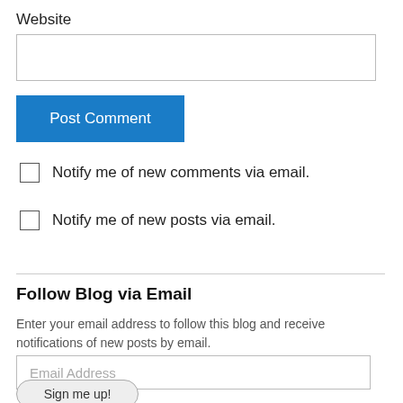Website
[Figure (other): Website text input field, empty]
Post Comment
Notify me of new comments via email.
Notify me of new posts via email.
Follow Blog via Email
Enter your email address to follow this blog and receive notifications of new posts by email.
[Figure (other): Email Address input field with placeholder text]
Sign me up!